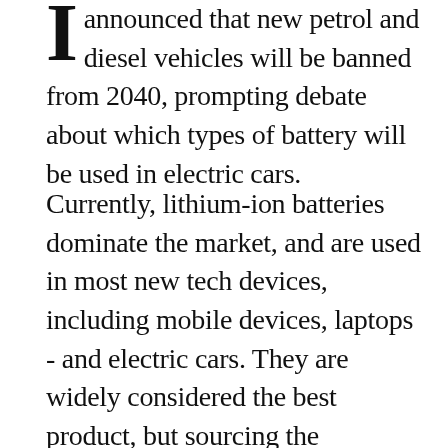I announced that new petrol and diesel vehicles will be banned from 2040, prompting debate about which types of battery will be used in electric cars.
Currently, lithium-ion batteries dominate the market, and are used in most new tech devices, including mobile devices, laptops - and electric cars. They are widely considered the best product, but sourcing the necessary amount of materials ethically and sustainably poses numerous challenges.